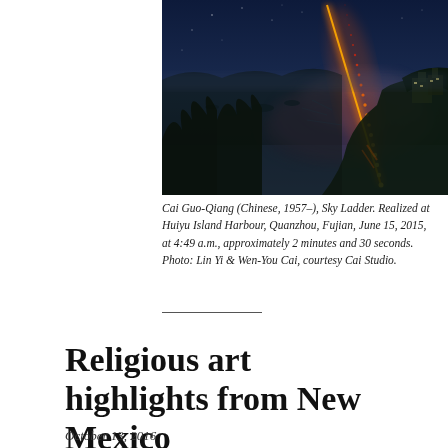[Figure (photo): Nighttime photograph of Cai Guo-Qiang's Sky Ladder installation at Huiyu Island Harbour, Quanzhou, Fujian. A bright orange glowing ladder of fire rises diagonally into the sky over a dark coastal landscape with water, buildings, and trees. The sky is deep blue-purple with mist and smoke.]
Cai Guo-Qiang (Chinese, 1957–), Sky Ladder. Realized at Huiyu Island Harbour, Quanzhou, Fujian, June 15, 2015, at 4:49 a.m., approximately 2 minutes and 30 seconds. Photo: Lin Yi & Wen-You Cai, courtesy Cai Studio.
Religious art highlights from New Mexico
October 13, 2016